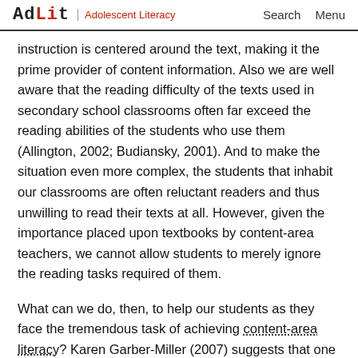AdLit | Adolescent Literacy   Search   Menu
instruction is centered around the text, making it the prime provider of content information. Also we are well aware that the reading difficulty of the texts used in secondary school classrooms often far exceed the reading abilities of the students who use them (Allington, 2002; Budiansky, 2001). And to make the situation even more complex, the students that inhabit our classrooms are often reluctant readers and thus unwilling to read their texts at all. However, given the importance placed upon textbooks by content-area teachers, we cannot allow students to merely ignore the reading tasks required of them.
What can we do, then, to help our students as they face the tremendous task of achieving content-area literacy? Karen Garber-Miller (2007) suggests that one